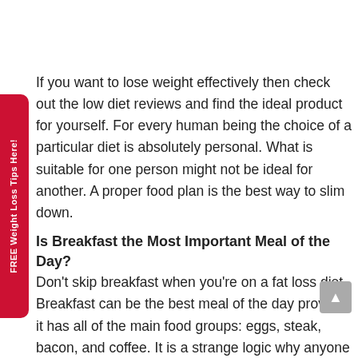If you want to lose weight effectively then check out the low diet reviews and find the ideal product for yourself. For every human being the choice of a particular diet is absolutely personal. What is suitable for one person might not be ideal for another. A proper food plan is the best way to slim down.
Is Breakfast the Most Important Meal of the Day?
Don't skip breakfast when you're on a fat loss diet. Breakfast can be the best meal of the day provided it has all of the main food groups: eggs, steak, bacon, and coffee. It is a strange logic why anyone would ever want to skip it.
4 Secrets of Weight Loss Workout Success